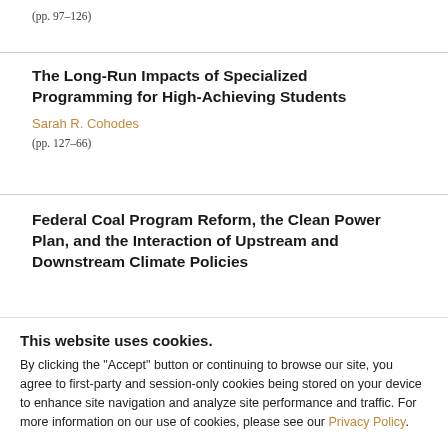(pp. 97–126)
The Long-Run Impacts of Specialized Programming for High-Achieving Students
Sarah R. Cohodes
(pp. 127–66)
Federal Coal Program Reform, the Clean Power Plan, and the Interaction of Upstream and Downstream Climate Policies
Todd D. Gerarden, W. Spencer Reeder and James H.
This website uses cookies.
By clicking the "Accept" button or continuing to browse our site, you agree to first-party and session-only cookies being stored on your device to enhance site navigation and analyze site performance and traffic. For more information on our use of cookies, please see our Privacy Policy.